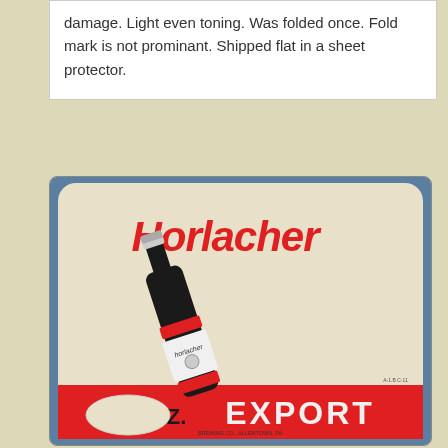damage. Light even toning. Was folded once. Fold mark is not prominant. Shipped flat in a sheet protector.
[Figure (photo): Photograph of a Horlacher Export beer label/coaster showing a dark beer bottle at an angle with the brand name 'Horlacher' in large red letters at the top, a red banner at the bottom reading 'EXPORT' with 'OZ.' and an oval badge, and small text at the bottom reading brewery info including 'ALLENTOWN, PA'.]